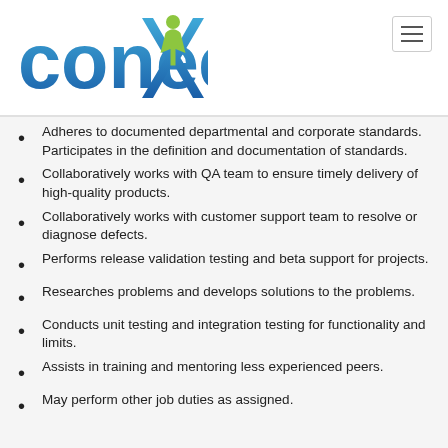[Figure (logo): Conexess company logo with blue and green lettering and a green figure icon in the X]
Adheres to documented departmental and corporate standards. Participates in the definition and documentation of standards.
Collaboratively works with QA team to ensure timely delivery of high-quality products.
Collaboratively works with customer support team to resolve or diagnose defects.
Performs release validation testing and beta support for projects.
Researches problems and develops solutions to the problems.
Conducts unit testing and integration testing for functionality and limits.
Assists in training and mentoring less experienced peers.
May perform other job duties as assigned.